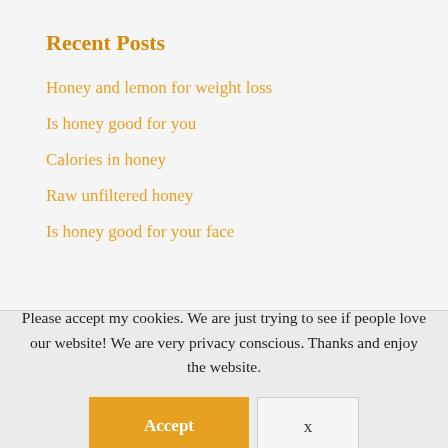Recent Posts
Honey and lemon for weight loss
Is honey good for you
Calories in honey
Raw unfiltered honey
Is honey good for your face
Please accept my cookies. We are just trying to see if people love our website! We are very privacy conscious. Thanks and enjoy the website.
Accept
x